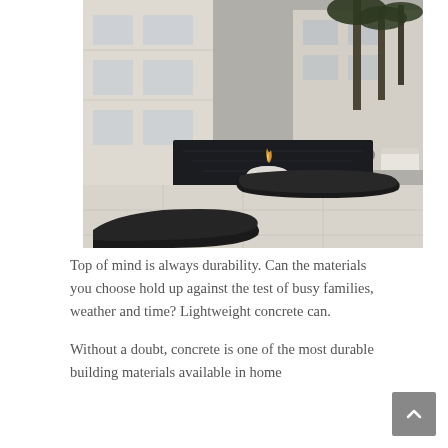[Figure (photo): Luxury modern outdoor patio with a white building, dark pool, white round fire bowl with flame, two black curved chaise lounges on light concrete pavers, and outdoor seating in the background with palm trees.]
Top of mind is always durability. Can the materials you choose hold up against the test of busy families, weather and time? Lightweight concrete can.
Without a doubt, concrete is one of the most durable building materials available in home